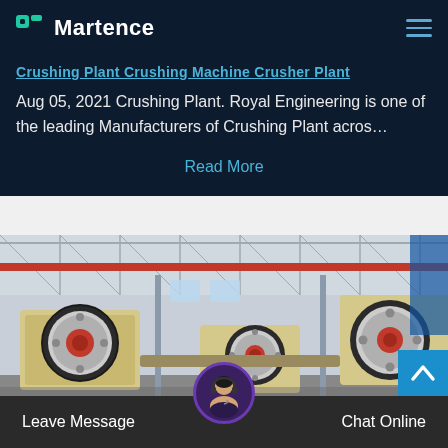Martence
Crushing Plant Crushing Machine Crusher Plant
Aug 05, 2021 Crushing Plant. Royal Engineering is one of the leading Manufacturers of Crushing Plant acros…
Read More
[Figure (photo): Industrial factory floor showing multiple large jaw crusher machines with red and cream-colored flywheels, inside a large warehouse with overhead cranes and steel framework.]
Leave Message   Chat Online